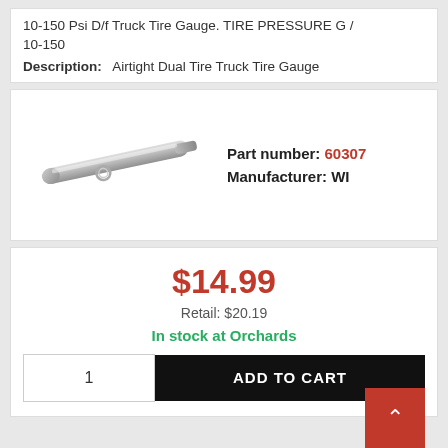10-150 Psi D/f Truck Tire Gauge. TIRE PRESSURE G / 10-150
Description: Airtight Dual Tire Truck Tire Gauge
[Figure (photo): Product photo of a silver metal tire pressure gauge, cylindrical with a ring attachment]
Part number: 60307
Manufacturer: WI
$14.99
Retail: $20.19
In stock at Orchards
1  ADD TO CART
10-150 psi Trk Tire Press Gauge. TIRE PRESSURE G /